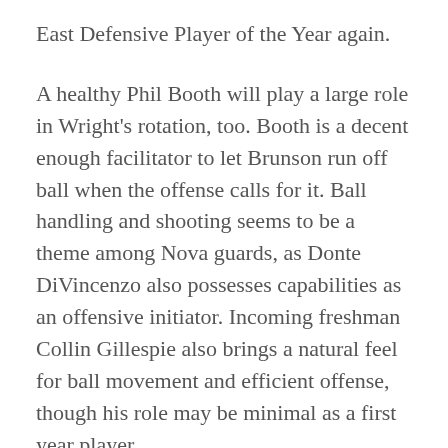East Defensive Player of the Year again.
A healthy Phil Booth will play a large role in Wright's rotation, too. Booth is a decent enough facilitator to let Brunson run off ball when the offense calls for it. Ball handling and shooting seems to be a theme among Nova guards, as Donte DiVincenzo also possesses capabilities as an offensive initiator. Incoming freshman Collin Gillespie also brings a natural feel for ball movement and efficient offense, though his role may be minimal as a first year player.
Also crucial will be whether or not Spellman can prove himself as a valuable rim protector. His 7-foot-1 wingspan suggests potential. Spellman